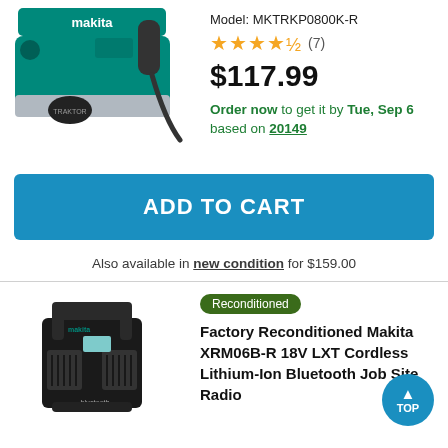[Figure (photo): Makita teal electric hand planer (Model MKTRKP0800K-R) product photo]
Model: MKTRKP0800K-R
★★★★½ (7)
$117.99
Order now to get it by Tue, Sep 6 based on 20149
ADD TO CART
Also available in new condition for $159.00
[Figure (photo): Makita black XRM06B-R 18V LXT Cordless Lithium-Ion Bluetooth Job Site Radio product photo]
Reconditioned
Factory Reconditioned Makita XRM06B-R 18V LXT Cordless Lithium-Ion Bluetooth Job Site Radio